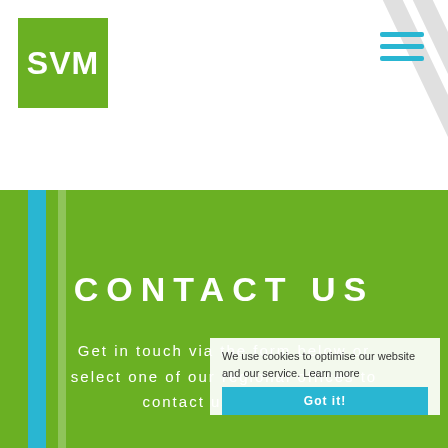[Figure (logo): SVM logo: green square with white bold text 'SVM']
[Figure (illustration): Hamburger menu icon with three cyan horizontal lines]
[Figure (illustration): Decorative light grey diagonal slash lines in top right corner]
CONTACT US
Get in touch via the form below or select one of our regional offices to contact us directly.
We use cookies to optimise our website and our service. Learn more
Got it!